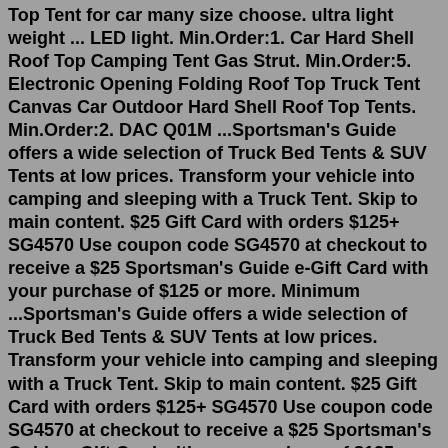Top Tent for car many size choose. ultra light weight ... LED light. Min.Order:1. Car Hard Shell Roof Top Camping Tent Gas Strut. Min.Order:5. Electronic Opening Folding Roof Top Truck Tent Canvas Car Outdoor Hard Shell Roof Top Tents. Min.Order:2. DAC Q01M ...Sportsman's Guide offers a wide selection of Truck Bed Tents & SUV Tents at low prices. Transform your vehicle into camping and sleeping with a Truck Tent. Skip to main content. $25 Gift Card with orders $125+ SG4570 Use coupon code SG4570 at checkout to receive a $25 Sportsman's Guide e-Gift Card with your purchase of $125 or more. Minimum ...Sportsman's Guide offers a wide selection of Truck Bed Tents & SUV Tents at low prices. Transform your vehicle into camping and sleeping with a Truck Tent. Skip to main content. $25 Gift Card with orders $125+ SG4570 Use coupon code SG4570 at checkout to receive a $25 Sportsman's Guide e-Gift Card with your purchase of $125 or more. Minimum ...Providing High-Quality Tents Since 1997 DAC, Inc. products include vehicle tents